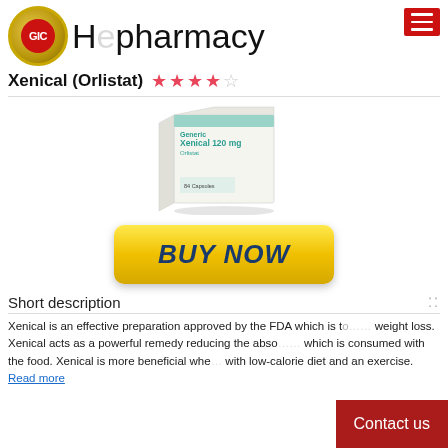Hc pharmacy
Xenical (Orlistat) ★★★★☆
[Figure (photo): Box of Generic Xenical 120mg capsules, white box with teal/green text, pharmaceutical product package]
[Figure (other): Yellow gradient 'BUY NOW' button with dark blue bold italic text]
Short description
Xenical is an effective preparation approved by the FDA which is to... weight loss. Xenical acts as a powerful remedy reducing the abso... which is consumed with the food. Xenical is more beneficial whe... with low-calorie diet and an exercise. Read more